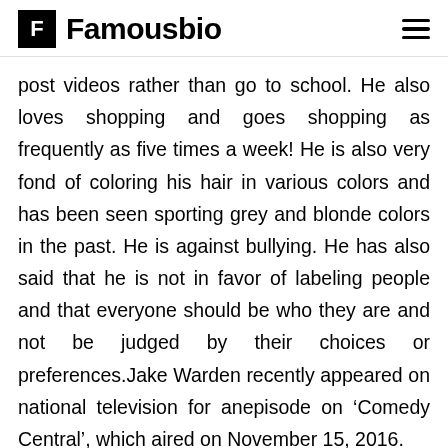Famousbio
post videos rather than go to school. He also loves shopping and goes shopping as frequently as five times a week! He is also very fond of coloring his hair in various colors and has been seen sporting grey and blonde colors in the past. He is against bullying. He has also said that he is not in favor of labeling people and that everyone should be who they are and not be judged by their choices or preferences.Jake Warden recently appeared on national television for anepisode on ‘Comedy Central’, which aired on November 15, 2016.